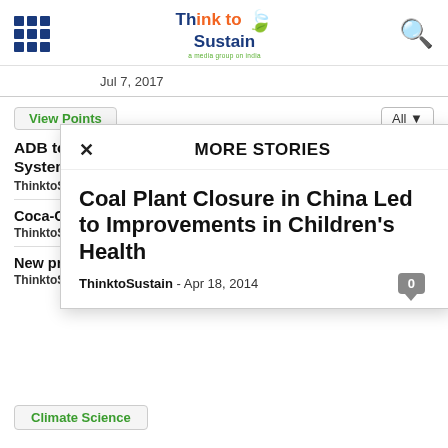Think to Sustain
Jul 7, 2017
View Points
All
ADB to Provide India $500 Million for Solar Rooftop Systems
ThinktoSustain - Oct 4, 2016
Coca-Cola's Br... Expo Milan
ThinktoSustain
New processin... battery comp...
ThinktoSustain
MORE STORIES
Coal Plant Closure in China Led to Improvements in Children's Health
ThinktoSustain - Apr 18, 2014
Climate Science